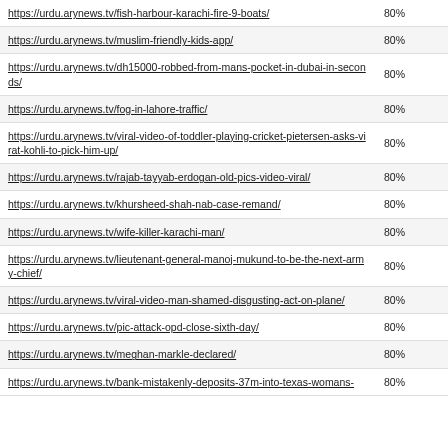| URL | Score |
| --- | --- |
| https://urdu.arynews.tv/fish-harbour-karachi-fire-9-boats/ | 80% |
| https://urdu.arynews.tv/muslim-friendly-kids-app/ | 80% |
| https://urdu.arynews.tv/dh15000-robbed-from-mans-pocket-in-dubai-in-seconds/ | 80% |
| https://urdu.arynews.tv/fog-in-lahore-traffic/ | 80% |
| https://urdu.arynews.tv/viral-video-of-toddler-playing-cricket-pietersen-asks-virat-kohli-to-pick-him-up/ | 80% |
| https://urdu.arynews.tv/rajab-tayyab-erdogan-old-pics-video-viral/ | 80% |
| https://urdu.arynews.tv/khursheed-shah-nab-case-remand/ | 80% |
| https://urdu.arynews.tv/wife-killer-karachi-man/ | 80% |
| https://urdu.arynews.tv/lieutenant-general-manoj-mukund-to-be-the-next-army-chief/ | 80% |
| https://urdu.arynews.tv/viral-video-man-shamed-disgusting-act-on-plane/ | 80% |
| https://urdu.arynews.tv/pic-attack-opd-close-sixth-day/ | 80% |
| https://urdu.arynews.tv/meghan-markle-declared/ | 80% |
| https://urdu.arynews.tv/bank-mistakenly-deposits-37m-into-texas-womans- | 80% |